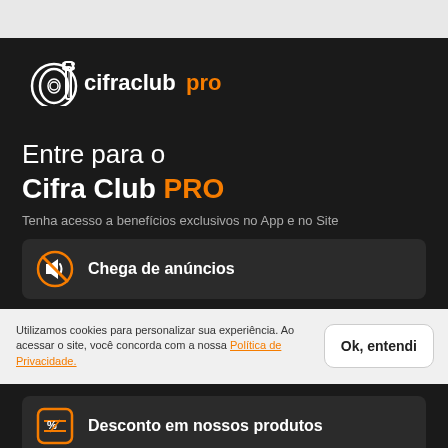[Figure (logo): Cifra Club PRO logo with guitar icon, white text 'cifraclub' and orange text 'pro']
Entre para o Cifra Club PRO
Tenha acesso a benefícios exclusivos no App e no Site
Chega de anúncios
Utilizamos cookies para personalizar sua experiência. Ao acessar o site, você concorda com a nossa Política de Privacidade.
Ok, entendi
Desconto em nossos produtos